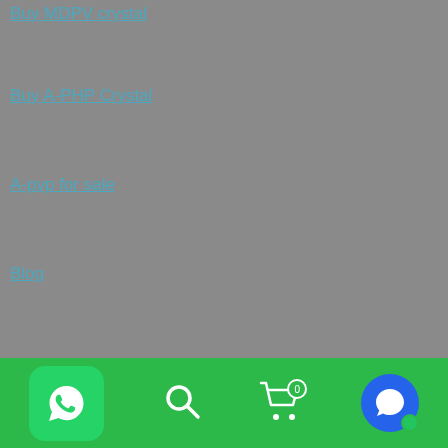Buy MDPV crystal
Buy A-PHP Crystal
A-pvp for sale
Blog
[Figure (logo): Bitcoin Accepted Here logo: orange Bitcoin coin graphic on the left with a stylized B symbol, and bold text 'BITCOIN ACCEPTED HERE!' on the right on a white background]
Bitcoin
[Figure (screenshot): Mobile app bottom navigation bar in green with WhatsApp icon (green rounded square with phone handset), search magnifying glass icon, shopping cart icon with badge, and blue chat bubble icon with green dot]